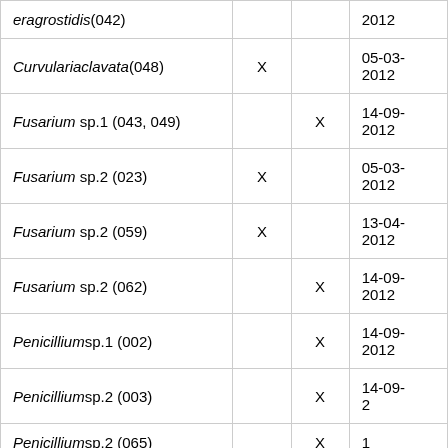| Species | Col2 | Col3 | Date |
| --- | --- | --- | --- |
| eragrostidis(042) |  |  | 2012 |
| Curvulariaclavata(048) | X |  | 05-03-2012 |
| Fusarium sp.1 (043, 049) |  | X | 14-09-2012 |
| Fusarium sp.2 (023) | X |  | 05-03-2012 |
| Fusarium sp.2 (059) | X |  | 13-04-2012 |
| Fusarium sp.2 (062) |  | X | 14-09-2012 |
| Penicilliumsp.1 (002) |  | X | 14-09-2012 |
| Penicilliumsp.2 (003) |  | X | 14-09-2... |
| Penicilliumsp.2 (065) |  | X | 1... |